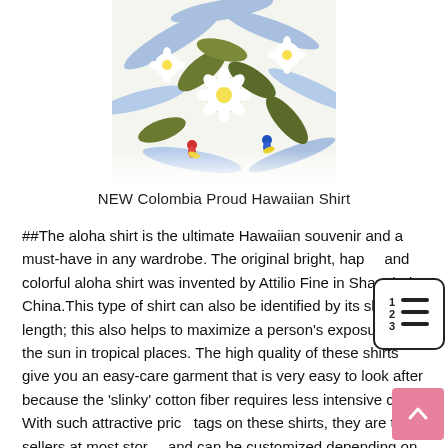[Figure (photo): Close-up of a Hawaiian shirt fabric with tropical floral pattern: white flowers, green palm leaves, blue palm fronds, and small yellow and blue parrots on a white background.]
NEW Colombia Proud Hawaiian Shirt
##The aloha shirt is the ultimate Hawaiian souvenir and a must-have in any wardrobe. The original bright, happy and colorful aloha shirt was invented by Attilio Fine in Shanghai, China.This type of shirt can also be identified by its short length; this also helps to maximize a person's exposure to the sun in tropical places. The high quality of these shirts give you an easy-care garment that is very easy to look after because the 'slinky' cotton fiber requires less intensive care. With such attractive price tags on these shirts, they are top sellers at most stores and can be customized depending on your gender or
[Figure (other): Table of contents / numbered list icon: a small icon showing lines next to numbers 1, 2, 3.]
[Figure (other): Scroll-to-top button: a pink/salmon colored square button with an upward-pointing caret arrow.]